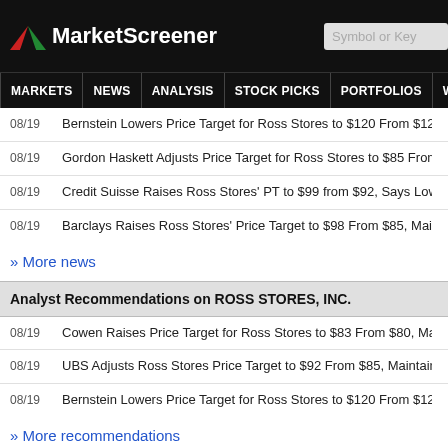MarketScreener
MARKETS | NEWS | ANALYSIS | STOCK PICKS | PORTFOLIOS | WATCHLI...
08/19   Bernstein Lowers Price Target for Ross Stores to $120 From $125, Mainta...
08/19   Gordon Haskett Adjusts Price Target for Ross Stores to $85 From $71, Ma...
08/19   Credit Suisse Raises Ross Stores' PT to $99 from $92, Says Low Quality...
08/19   Barclays Raises Ross Stores' Price Target to $98 From $85, Maintains Ov...
» More news
Analyst Recommendations on ROSS STORES, INC.
08/19   Cowen Raises Price Target for Ross Stores to $83 From $80, Maintains M...
08/19   UBS Adjusts Ross Stores Price Target to $92 From $85, Maintains Neutra...
08/19   Bernstein Lowers Price Target for Ross Stores to $120 From $125, Mainta...
» More recommendations